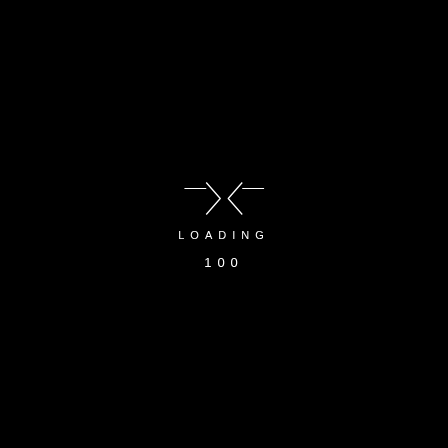[Figure (logo): Stylized abstract logo resembling two mirrored arrow/chevron shapes pointing inward, forming a butterfly or bowtie shape with horizontal lines on each side, rendered in white on black background]
LOADING
100